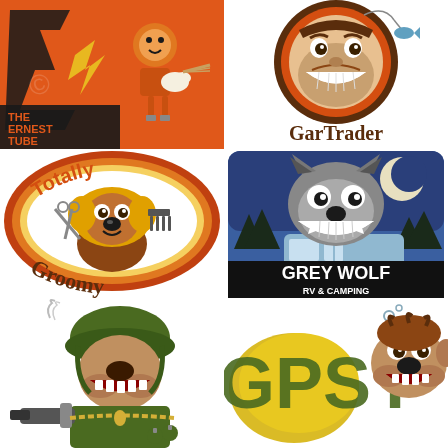[Figure (logo): The Ernest Tube logo: orange background with cartoon guitar-playing robot/plug character, bold orange and black text reading THE ERNEST TUBE]
[Figure (logo): GarTrader logo: circular design with cartoon grinning man fishing, brown and orange circle, GarTrader text in brown below]
[Figure (logo): Totally Groomy logo: retro 70s style, cartoon grooming dog with scissors and comb, orange/brown/yellow rings, Totally Groomy text in brown]
[Figure (logo): Grey Wolf RV & Camping logo: blue square with cartoon grey wolf grinning in front of an RV/camper under full moon, GREY WOLF text in white on black band]
[Figure (logo): Military bulldog mascot illustration: tough bulldog in green military gear with gun, grenades, goggles and helmet]
[Figure (logo): Gypsy logo: partial view of stylized text GYPSY in yellow/green with cartoon bulldog character beside it]